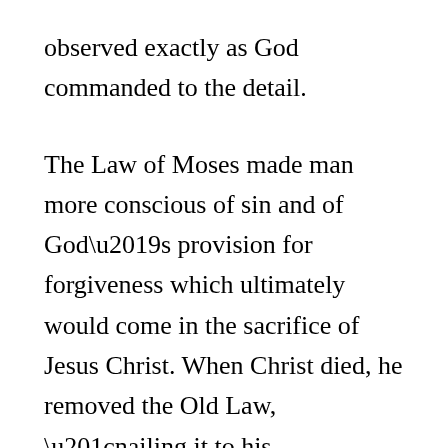observed exactly as God commanded to the detail.
The Law of Moses made man more conscious of sin and of God’s provision for forgiveness which ultimately would come in the sacrifice of Jesus Christ. When Christ died, he removed the Old Law, “nailing it to his cross,” thus ending all of its holy days (Col. 2:14-17). Christ arose “on the first day of the week” and his church was established on